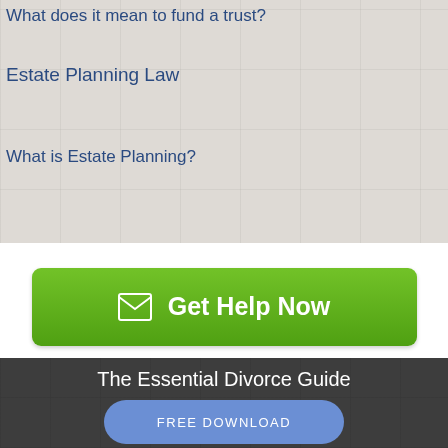What does it mean to fund a trust?
Estate Planning Law
What is Estate Planning?
[Figure (other): Green 'Get Help Now' button with envelope icon]
The Essential Divorce Guide
[Figure (other): Blue 'FREE DOWNLOAD' button (rounded pill shape)]